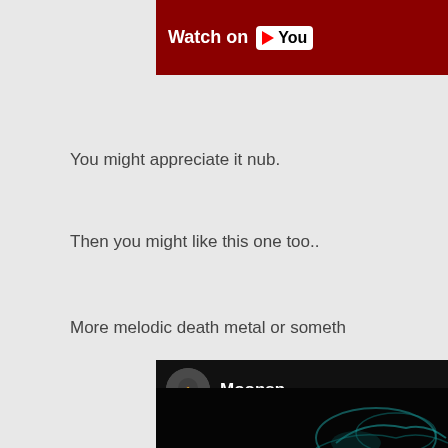[Figure (screenshot): YouTube 'Watch on YouTube' button/banner at top right, dark red/maroon background with white text and YouTube play button icon]
You might appreciate it nub.
Then you might like this one too..
More melodic death metal or someth
[Figure (screenshot): Embedded YouTube video player showing 'Moonsp...' with circular avatar of person in misty outdoor setting, dark background with teal smoke/light effects]